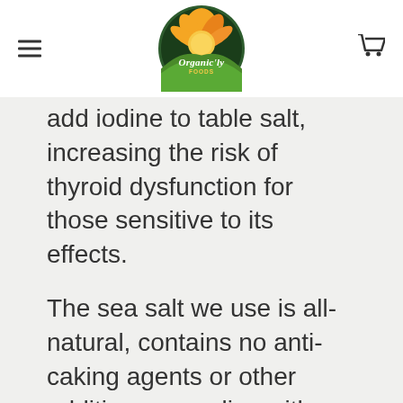Organic'ly Foods
add iodine to table salt, increasing the risk of thyroid dysfunction for those sensitive to its effects.
The sea salt we use is all-natural, contains no anti-caking agents or other additives, complies with organic standards, and can be deemed “organic compliant”. This is the